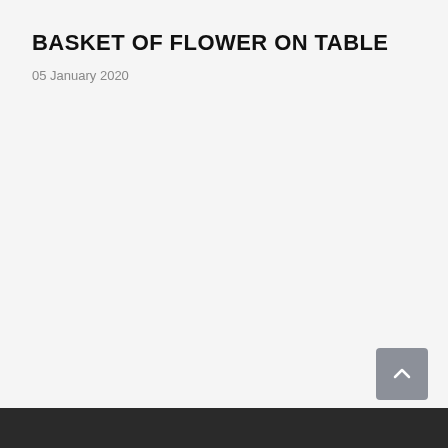BASKET OF FLOWER ON TABLE
05 January 2020